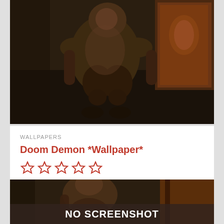[Figure (screenshot): Dark fantasy game screenshot showing a demon creature crouching in a dimly lit interior space with ornate decorations in the background.]
WALLPAPERS
Doom Demon *Wallpaper*
[Figure (other): Five empty star rating icons in orange/burnt orange color indicating a rating widget.]
Long time since we've had a new wallpaper, so I thought I'd throw up this one by Crono Entreri. Great one, really one of the best out there...
[Figure (screenshot): Game screenshot of a monster/demon in a dark environment with a 'NO SCREENSHOT' overlay text banner at the bottom.]